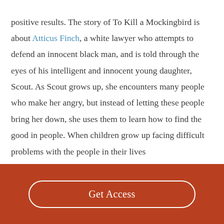positive results. The story of To Kill a Mockingbird is about Atticus Finch, a white lawyer who attempts to defend an innocent black man, and is told through the eyes of his intelligent and innocent young daughter, Scout. As Scout grows up, she encounters many people who make her angry, but instead of letting these people bring her down, she uses them to learn how to find the good in people. When children grow up facing difficult problems with the people in their lives
Get Access